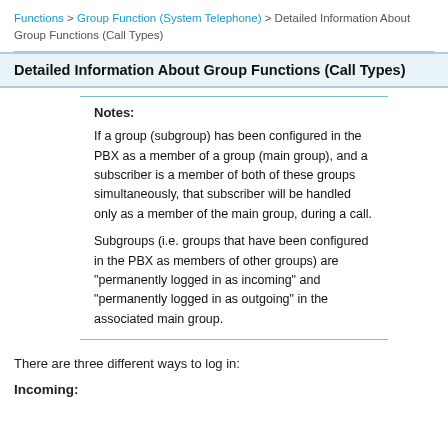Functions > Group Function (System Telephone) > Detailed Information About Group Functions (Call Types)
Detailed Information About Group Functions (Call Types)
Notes:
If a group (subgroup) has been configured in the PBX as a member of a group (main group), and a subscriber is a member of both of these groups simultaneously, that subscriber will be handled only as a member of the main group, during a call.
Subgroups (i.e. groups that have been configured in the PBX as members of other groups) are "permanently logged in as incoming" and "permanently logged in as outgoing" in the associated main group.
There are three different ways to log in:
Incoming: